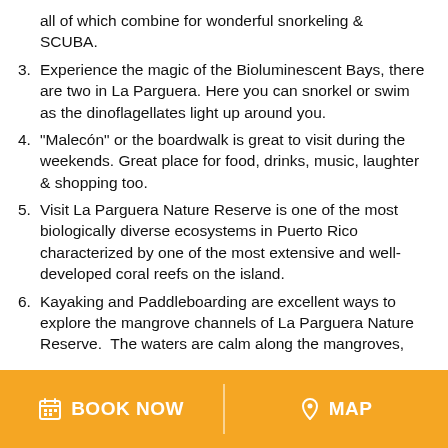all of which combine for wonderful snorkeling & SCUBA.
3. Experience the magic of the Bioluminescent Bays, there are two in La Parguera. Here you can snorkel or swim as the dinoflagellates light up around you.
4. “Malecón” or the boardwalk is great to visit during the weekends. Great place for food, drinks, music, laughter & shopping too.
5. Visit La Parguera Nature Reserve is one of the most biologically diverse ecosystems in Puerto Rico characterized by one of the most extensive and well-developed coral reefs on the island.
6. Kayaking and Paddleboarding are excellent ways to explore the mangrove channels of La Parguera Nature Reserve.  The waters are calm along the mangroves,
BOOK NOW   MAP